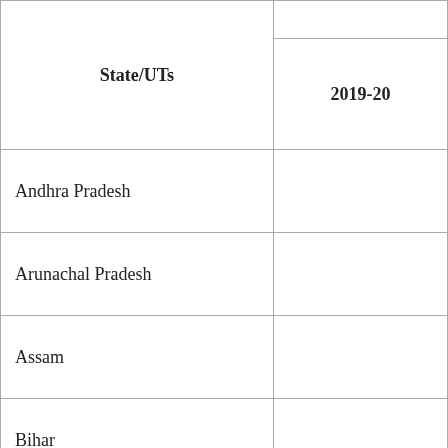| State/UTs | 2019-20 |
| --- | --- |
| Andhra Pradesh |  |
| Arunachal Pradesh |  |
| Assam |  |
| Bihar |  |
| Chhattisgarh |  |